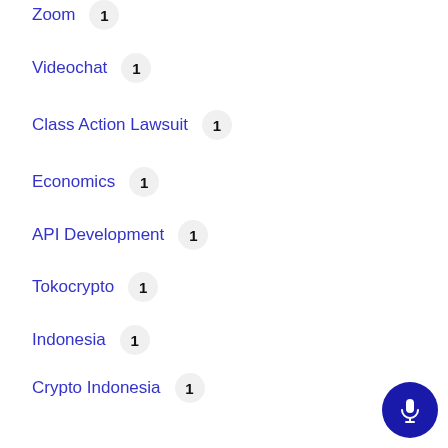Zoom 1
Videochat 1
Class Action Lawsuit 1
Economics 1
API Development 1
Tokocrypto 1
Indonesia 1
Crypto Indonesia 1
Indonesia Blockchain 1
Indonesia Crypto 1
Blockchain In Indonesia 1
Gaming 1